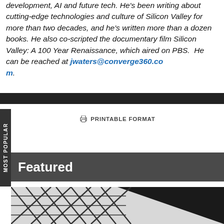development, AI and future tech. He's been writing about cutting-edge technologies and culture of Silicon Valley for more than two decades, and he's written more than a dozen books. He also co-scripted the documentary film Silicon Valley: A 100 Year Renaissance, which aired on PBS.  He can be reached at jwaters@converge360.com.
🖨 PRINTABLE FORMAT
Featured
[Figure (photo): Architectural photo showing geometric glass and steel facade with triangular grid pattern, partially in shadow on the right side.]